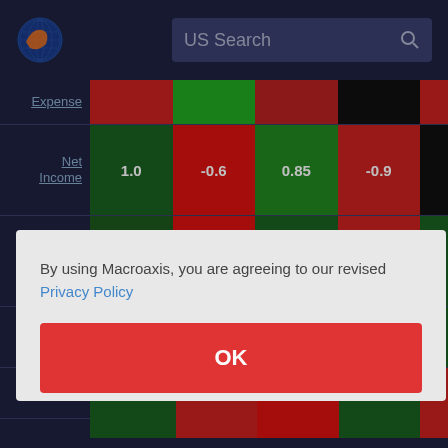US Search
|  | Col1 | Col2 | Col3 | Col4 |
| --- | --- | --- | --- | --- |
| Expense |  |  |  |  |
| Net Income | 1.0 | -0.6 | 0.85 | -0.9 |
| Net Income | 1.0 | -0.6 | 0.85 | -0.9 |
By using Macroaxis, you are agreeing to our revised Privacy Policy
OK